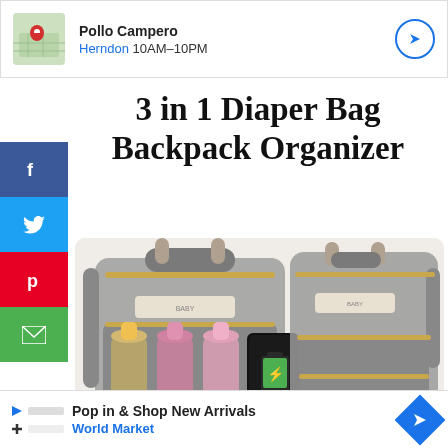[Figure (screenshot): Google Maps style ad banner for Pollo Campero, Herndon 10AM-10PM with map pin icon and navigation arrow button]
3 in 1 Diaper Bag Backpack Organizer
[Figure (photo): Gray diaper bag backpack shown from two angles - front view with baby bottles in pockets and side/back view showing USB charging port and phone, gold zippers and accents]
[Figure (screenshot): Google Maps style ad banner for World Market - Pop in & Shop New Arrivals, with blue diamond navigation icon]